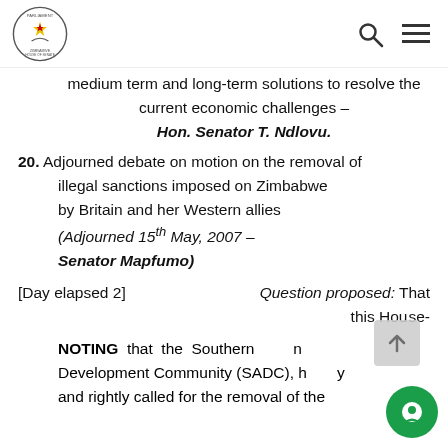Parliament of Zimbabwe - header with logo, search, and menu icons
medium term and long-term solutions to resolve the current economic challenges – Hon. Senator T. Ndlovu.
20. Adjourned debate on motion on the removal of illegal sanctions imposed on Zimbabwe by Britain and her Western allies (Adjourned 15th May, 2007 – Senator Mapfumo)
[Day elapsed 2]        Question proposed: That this House-
NOTING that the Southern African Development Community (SADC), has correctly and rightly called for the removal of the